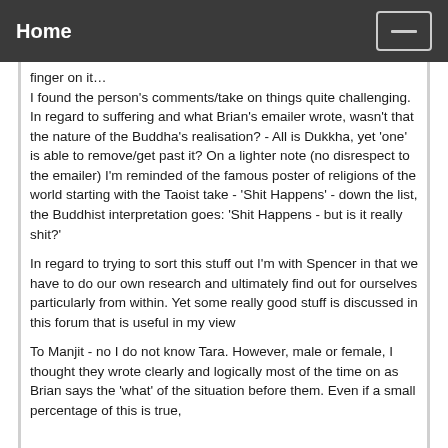Home
finger on it…
I found the person's comments/take on things quite challenging. In regard to suffering and what Brian's emailer wrote, wasn't that the nature of the Buddha's realisation? - All is Dukkha, yet 'one' is able to remove/get past it? On a lighter note (no disrespect to the emailer) I'm reminded of the famous poster of religions of the world starting with the Taoist take - 'Shit Happens' - down the list, the Buddhist interpretation goes: 'Shit Happens - but is it really shit?'
In regard to trying to sort this stuff out I'm with Spencer in that we have to do our own research and ultimately find out for ourselves particularly from within. Yet some really good stuff is discussed in this forum that is useful in my view
To Manjit - no I do not know Tara. However, male or female, I thought they wrote clearly and logically most of the time on as Brian says the 'what' of the situation before them. Even if a small percentage of this is true,